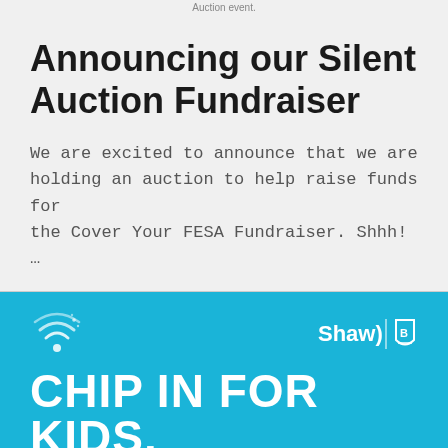Auction event.
Announcing our Silent Auction Fundraiser
We are excited to announce that we are holding an auction to help raise funds for the Cover Your FESA Fundraiser. Shhh! …
[Figure (illustration): Blue banner with Shaw logo and hockey charity logo icons, featuring the text CHIP IN FOR KIDS. in large white bold letters]
BFK Announces 2021's Chip